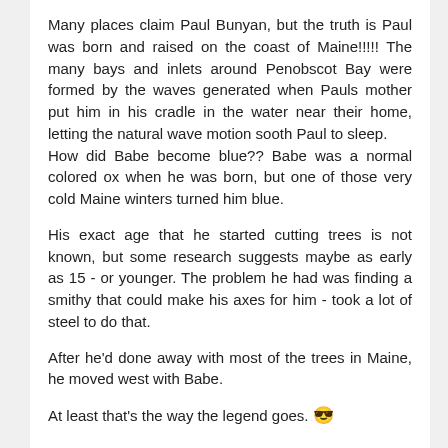Many places claim Paul Bunyan, but the truth is Paul was born and raised on the coast of Maine!!!!! The many bays and inlets around Penobscot Bay were formed by the waves generated when Pauls mother put him in his cradle in the water near their home, letting the natural wave motion sooth Paul to sleep.
How did Babe become blue?? Babe was a normal colored ox when he was born, but one of those very cold Maine winters turned him blue.
His exact age that he started cutting trees is not known, but some research suggests maybe as early as 15 - or younger. The problem he had was finding a smithy that could make his axes for him - took a lot of steel to do that.
After he'd done away with most of the trees in Maine, he moved west with Babe.
At least that's the way the legend goes. 😎
Hudsoniv